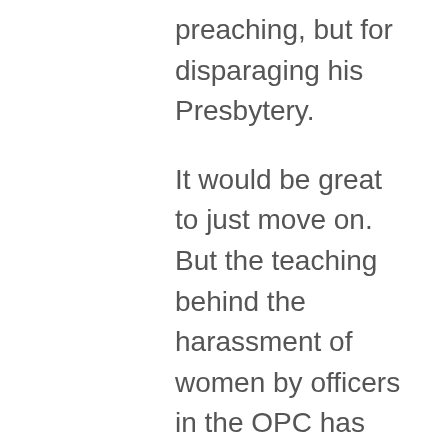preaching, but for disparaging his Presbytery.
It would be great to just move on. But the teaching behind the harassment of women by officers in the OPC has not been addressed. So the harassment will continue. But that isn't even my main motivation to write. I'm thinking about the men and women sitting under the teaching that depersonalizes half the people in their congregation and takes away their agency as people. Since I've fought back against spiritual abuse, more are coming to me with their